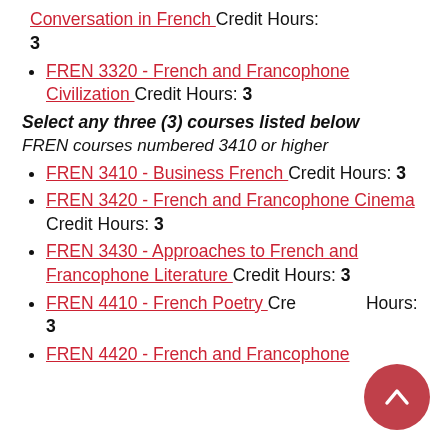Conversation in French Credit Hours: 3
FREN 3320 - French and Francophone Civilization Credit Hours: 3
Select any three (3) courses listed below
FREN courses numbered 3410 or higher
FREN 3410 - Business French Credit Hours: 3
FREN 3420 - French and Francophone Cinema Credit Hours: 3
FREN 3430 - Approaches to French and Francophone Literature Credit Hours: 3
FREN 4410 - French Poetry Credit Hours: 3
FREN 4420 - French and Francophone Theatre Credit Hours: 3